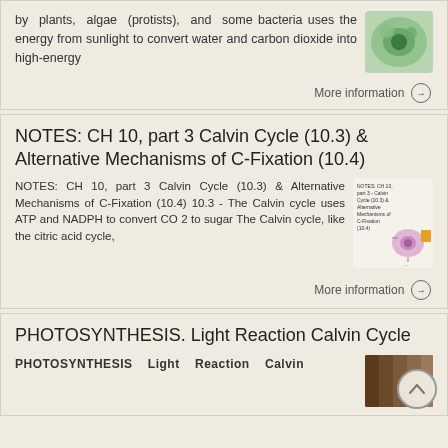by plants, algae (protists), and some bacteria uses the energy from sunlight to convert water and carbon dioxide into high-energy
More information →
NOTES: CH 10, part 3 Calvin Cycle (10.3) & Alternative Mechanisms of C-Fixation (10.4)
NOTES: CH 10, part 3 Calvin Cycle (10.3) & Alternative Mechanisms of C-Fixation (10.4) 10.3 - The Calvin cycle uses ATP and NADPH to convert CO 2 to sugar The Calvin cycle, like the citric acid cycle,
More information →
PHOTOSYNTHESIS. Light Reaction Calvin Cycle
PHOTOSYNTHESIS Light Reaction Calvin